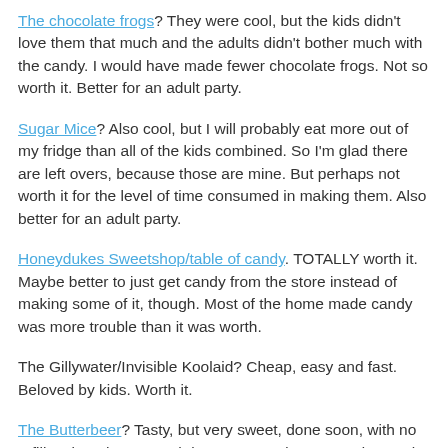The chocolate frogs? They were cool, but the kids didn't love them that much and the adults didn't bother much with the candy. I would have made fewer chocolate frogs. Not so worth it. Better for an adult party.
Sugar Mice? Also cool, but I will probably eat more out of my fridge than all of the kids combined. So I'm glad there are left overs, because those are mine. But perhaps not worth it for the level of time consumed in making them. Also better for an adult party.
Honeydukes Sweetshop/table of candy. TOTALLY worth it. Maybe better to just get candy from the store instead of making some of it, though. Most of the home made candy was more trouble than it was worth.
The Gillywater/Invisible Koolaid? Cheap, easy and fast. Beloved by kids. Worth it.
The Butterbeer? Tasty, but very sweet, done soon, with no refills. I bought too much ice cream and cream soda. Maybe not worth the stress. Adult party. Spiked with real booze.